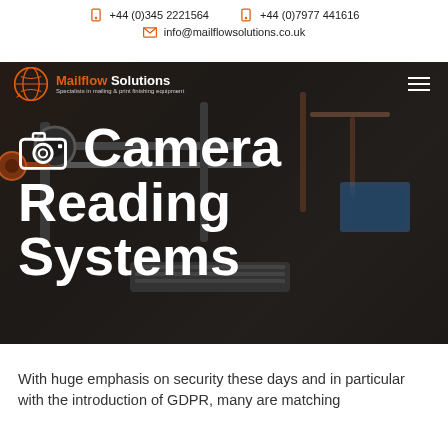+44 (0)345 2221564   +44 (0)7977 441616   info@mailflowsolutions.co.uk
[Figure (screenshot): Mailflow Solutions logo with orange globe/chat icon and text: Mailflow Solutions, Specialists in mailing & print finishing equipment]
📷 Camera Reading Systems
With huge emphasis on security these days and in particular with the introduction of GDPR, many are matching